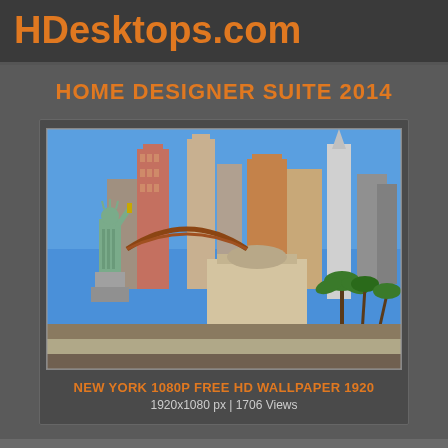HDesktops.com
HOME DESIGNER SUITE 2014
[Figure (photo): New York skyline wallpaper preview showing Statue of Liberty, skyscrapers, rollercoaster and palm trees (Las Vegas New York New York hotel)]
NEW YORK 1080P FREE HD WALLPAPER 1920
1920x1080 px | 1706 Views